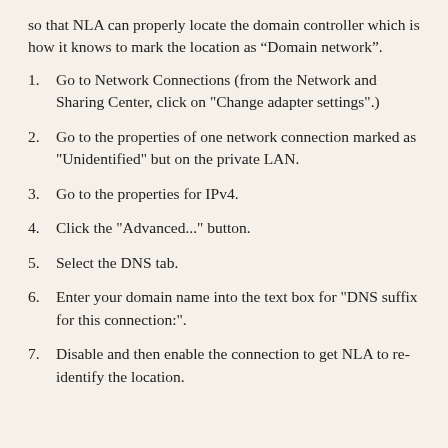so that NLA can properly locate the domain controller which is how it knows to mark the location as “Domain network”.
1. Go to Network Connections (from the Network and Sharing Center, click on "Change adapter settings".)
2. Go to the properties of one network connection marked as "Unidentified" but on the private LAN.
3. Go to the properties for IPv4.
4. Click the "Advanced..." button.
5. Select the DNS tab.
6. Enter your domain name into the text box for "DNS suffix for this connection:".
7. Disable and then enable the connection to get NLA to re-identify the location.